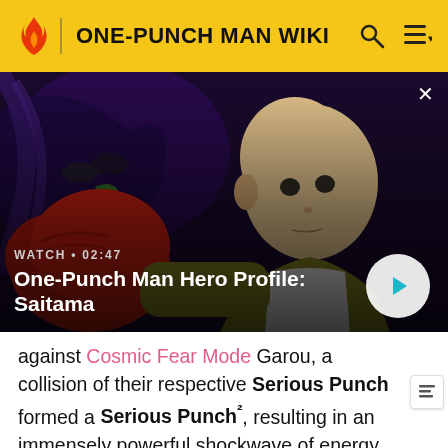ONE-PUNCH MAN WIKI
[Figure (screenshot): One-Punch Man anime video thumbnail showing Saitama in yellow suit punching with a red gloved fist toward a dark monster. Video overlay shows 'WATCH • 02:47' and title 'One-Punch Man Hero Profile: Saitama' with a play button.]
against Cosmic Fear Mode Garou, a collision of their respective Serious Punch formed a Serious Punch², resulting in an immensely powerful shockwave of energy, to the point that the impact, when diverted, could still (presumably) travel thousands to millions of light-years